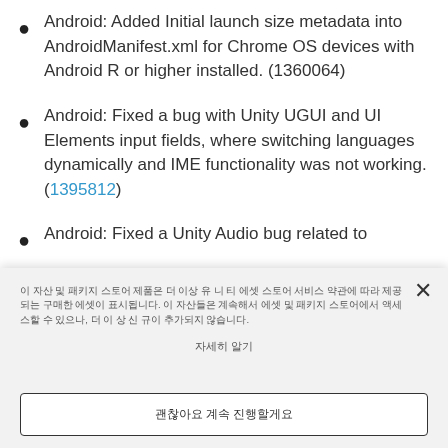Android: Added Initial launch size metadata into AndroidManifest.xml for Chrome OS devices with Android R or higher installed. (1360064)
Android: Fixed a bug with Unity UGUI and UI Elements input fields, where switching languages dynamically and IME functionality was not working. (1395812)
Android: Fixed a Unity Audio bug related to
이 자산 및 패키지 스토어 제품은 더 이상 유 니 티 에셋 스토어 서비스 약관에 따라 제공되는 구매한 에셋이 표시됩니다. 이 자산들은 계속해서 에셋 및 패키지 스토어에서 액세스할 수 있으나, 더 이 상 신 규이 추가되지 않습니다.
자세히 알기
괜찮아요 계속 진행할게요